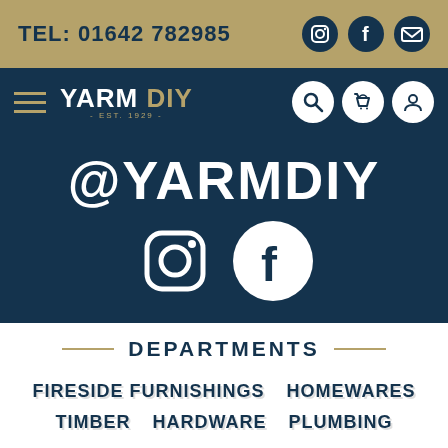TEL: 01642 782985
[Figure (logo): YARM DIY logo with hamburger menu and navigation icons]
@YARMDIY
[Figure (illustration): Instagram and Facebook social media icons]
DEPARTMENTS
FIRESIDE FURNISHINGS
HOMEWARES
TIMBER
HARDWARE
PLUMBING